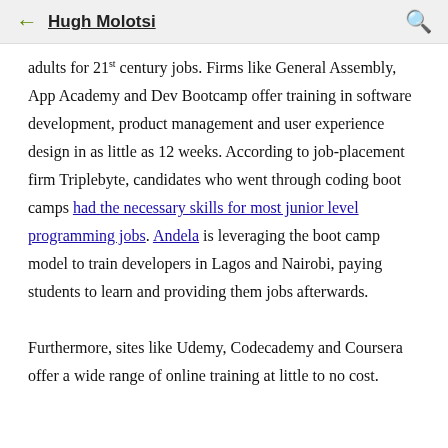Hugh Molotsi
adults for 21st century jobs. Firms like General Assembly, App Academy and Dev Bootcamp offer training in software development, product management and user experience design in as little as 12 weeks. According to job-placement firm Triplebyte, candidates who went through coding boot camps had the necessary skills for most junior level programming jobs. Andela is leveraging the boot camp model to train developers in Lagos and Nairobi, paying students to learn and providing them jobs afterwards.

Furthermore, sites like Udemy, Codecademy and Coursera offer a wide range of online training at little to no cost.